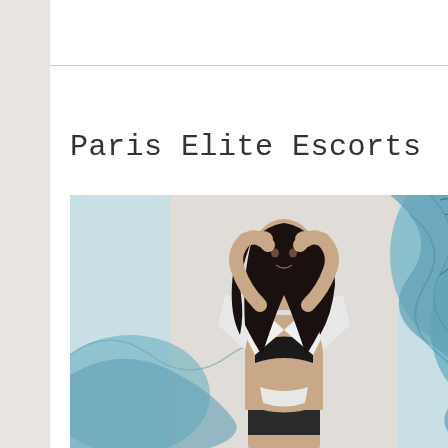Paris Elite Escorts
[Figure (photo): A woman with long dark hair posing with arms raised above head, wearing an open white shirt and black bra, against a decorative blue wave-patterned background.]